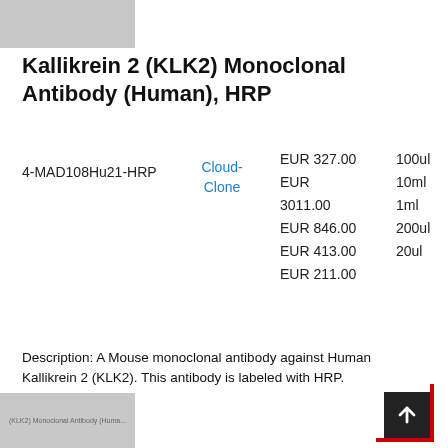[Figure (photo): Grey placeholder image top left]
Kallikrein 2 (KLK2) Monoclonal Antibody (Human), HRP
4-MAD108Hu21-HRP   Cloud-Clone   EUR 327.00 / 100ul   EUR 3011.00 / 10ml   EUR 846.00 / 1ml   EUR 413.00 / 200ul   EUR 211.00 / 20ul
Description: A Mouse monoclonal antibody against Human Kallikrein 2 (KLK2). This antibody is labeled with HRP.
[Figure (photo): Grey placeholder image bottom left with faint text about KLK2 Monoclonal Antibody (Human)]